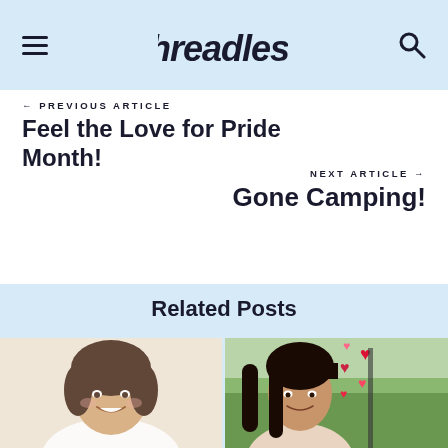Threadless — hamburger menu, logo, search icon
← PREVIOUS ARTICLE
Feel the Love for Pride Month!
NEXT ARTICLE →
Gone Camping!
Related Posts
[Figure (photo): Two photo thumbnails side by side: left shows a smiling woman with short dark hair wearing white, right shows a smiling woman with long dark hair against a backdrop with red/pink heart decorations and trees.]